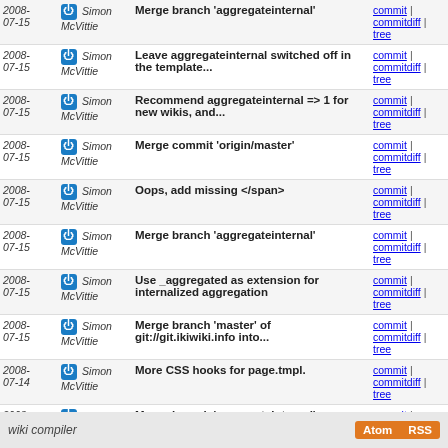| Date | Author | Commit message | Links |
| --- | --- | --- | --- |
| 2008-07-15 | Simon McVittie | Merge branch 'aggregateinternal' | commit | commitdiff | tree |
| 2008-07-15 | Simon McVittie | Leave aggregateinternal switched off in the template... | commit | commitdiff | tree |
| 2008-07-15 | Simon McVittie | Recommend aggregateinternal => 1 for new wikis, and... | commit | commitdiff | tree |
| 2008-07-15 | Simon McVittie | Merge commit 'origin/master' | commit | commitdiff | tree |
| 2008-07-15 | Simon McVittie | Oops, add missing </span> | commit | commitdiff | tree |
| 2008-07-15 | Simon McVittie | Merge branch 'aggregateinternal' | commit | commitdiff | tree |
| 2008-07-15 | Simon McVittie | Use _aggregated as extension for internalized aggregation | commit | commitdiff | tree |
| 2008-07-15 | Simon McVittie | Merge branch 'master' of git://git.ikiwiki.info into... | commit | commitdiff | tree |
| 2008-07-14 | Simon McVittie | More CSS hooks for page.tmpl. | commit | commitdiff | tree |
| 2008-07-14 | Simon McVittie | Merge branch 'aggregateinternal' | commit | commitdiff | tree |
| 2008-07-14 | Simon McVittie | Add aggregateinternal mode to ikiwiki-transition. | commit | commitdiff | tree |
wiki compiler  Atom RSS